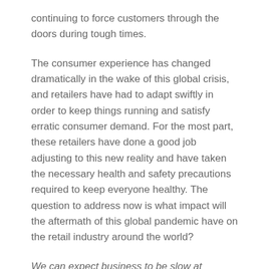continuing to force customers through the doors during tough times.
The consumer experience has changed dramatically in the wake of this global crisis, and retailers have had to adapt swiftly in order to keep things running and satisfy erratic consumer demand. For the most part, these retailers have done a good job adjusting to this new reality and have taken the necessary health and safety precautions required to keep everyone healthy. The question to address now is what impact will the aftermath of this global pandemic have on the retail industry around the world?
We can expect business to be slow at